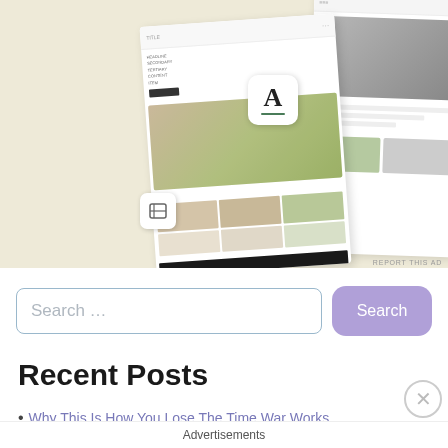[Figure (screenshot): Advertisement showing a food/recipe website or app design mockup with food photos, a letter A logo, and layout components on a beige background. Labeled 'REPORT THIS AD' at bottom right.]
REPORT THIS AD
Search …
Recent Posts
Why This Is How You Lose The Time War Works
Advertisements